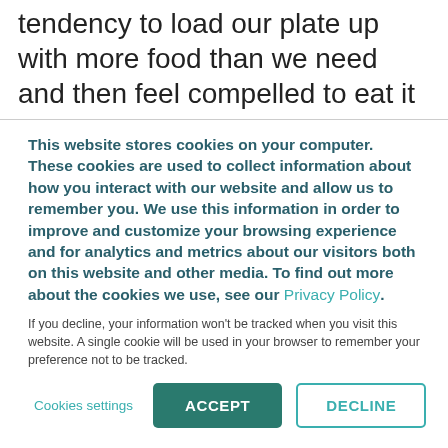tendency to load our plate up with more food than we need and then feel compelled to eat it
This website stores cookies on your computer. These cookies are used to collect information about how you interact with our website and allow us to remember you. We use this information in order to improve and customize your browsing experience and for analytics and metrics about our visitors both on this website and other media. To find out more about the cookies we use, see our Privacy Policy.
If you decline, your information won't be tracked when you visit this website. A single cookie will be used in your browser to remember your preference not to be tracked.
Cookies settings | ACCEPT | DECLINE